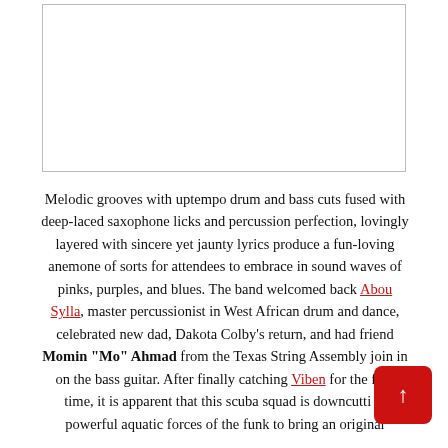[Figure (other): White rectangle image placeholder with gray border]
Melodic grooves with uptempo drum and bass cuts fused with deep-laced saxophone licks and percussion perfection, lovingly layered with sincere yet jaunty lyrics produce a fun-loving anemone of sorts for attendees to embrace in sound waves of pinks, purples, and blues. The band welcomed back Abou Sylla, master percussionist in West African drum and dance, celebrated new dad, Dakota Colby’s return, and had friend Momin “Mo” Ahmad from the Texas String Assembly join in on the bass guitar. After finally catching Viben for the first time, it is apparent that this scuba squad is downcutting powerful aquatic forces of the funk to bring an original